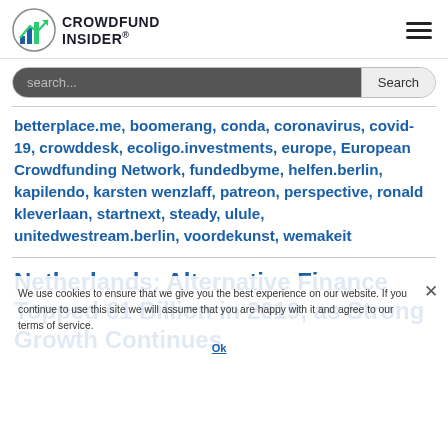CROWDFUND INSIDER
search...
betterplace.me, boomerang, conda, coronavirus, covid-19, crowddesk, ecoligo.investments, europe, European Crowdfunding Network, fundedbyme, helfen.berlin, kapilendo, karsten wenzlaff, patreon, perspective, ronald kleverlaan, startnext, steady, ulule, unitedwestream.berlin, voordekunst, wemakeit
Netherlands: Alternative Finance Topped €1 Billion in 2019, as Strong Growth Continues
We use cookies to ensure that we give you the best experience on our website. If you continue to use this site we will assume that you are happy with it and agree to our terms of service.